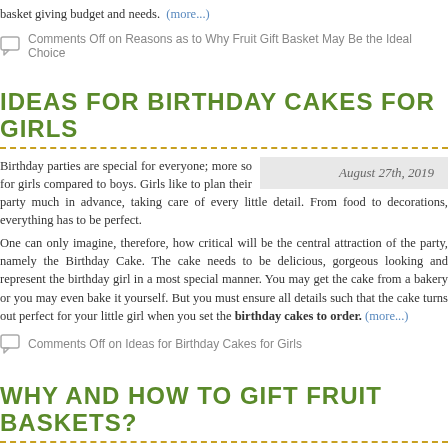basket giving budget and needs. (more...)
Comments Off on Reasons as to Why Fruit Gift Basket May Be the Ideal Choice
IDEAS FOR BIRTHDAY CAKES FOR GIRLS
August 27th, 2019
Birthday parties are special for everyone; more so for girls compared to boys. Girls like to plan their party much in advance, taking care of every little detail. From food to decorations, everything has to be perfect.
One can only imagine, therefore, how critical will be the central attraction of the party, namely the Birthday Cake. The cake needs to be delicious, gorgeous looking and represent the birthday girl in a most special manner. You may get the cake from a bakery or you may even bake it yourself. But you must ensure all details such that the cake turns out perfect for your little girl when you set the birthday cakes to order. (more...)
Comments Off on Ideas for Birthday Cakes for Girls
WHY AND HOW TO GIFT FRUIT BASKETS?
August 26th, 2019
A fruit basket is composed of a basket filled with delicious fruits. Traditionally, they are given as gifts.